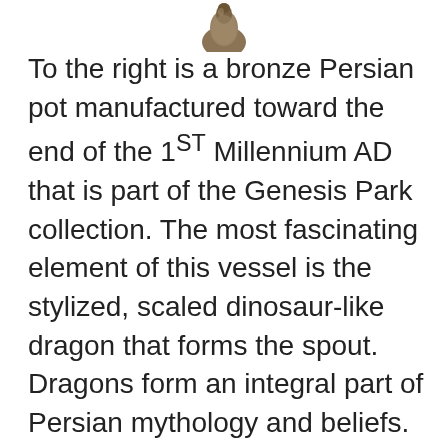[Figure (photo): A bronze Persian pot artifact shown from above, partially visible at the top of the page, brownish-gray in color.]
To the right is a bronze Persian pot manufactured toward the end of the 1ST Millennium AD that is part of the Genesis Park collection. The most fascinating element of this vessel is the stylized, scaled dinosaur-like dragon that forms the spout. Dragons form an integral part of Persian mythology and beliefs. The ceremonial undertones of this vessel lead us to believe that it was associated with Zoroastrianism. Several malevolent dragon-like creatures are mentioned